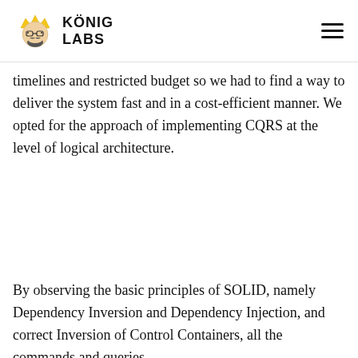KÖNIG LABS
timelines and restricted budget so we had to find a way to deliver the system fast and in a cost-efficient manner. We opted for the approach of implementing CQRS at the level of logical architecture.
By observing the basic principles of SOLID, namely Dependency Inversion and Dependency Injection, and correct Inversion of Control Containers, all the commands and queries